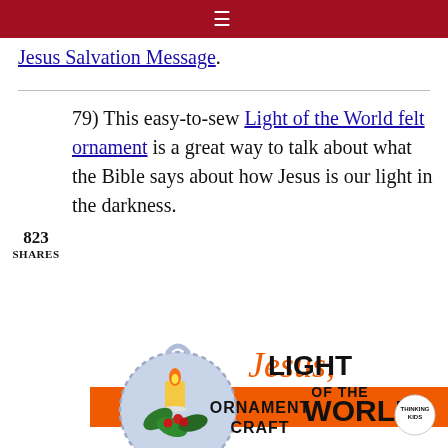≡
Jesus Salvation Message.
79) This easy-to-sew Light of the World felt ornament is a great way to talk about what the Bible says about how Jesus is our light in the darkness.
823 SHARES
[Figure (illustration): Jesus Light of the World ornament craft promotional image showing a felt circular ornament with a candle and holly decoration, with orange script 'Jesus' text and bold black 'LIGHT OF THE WORLD' text, and an orange banner reading 'ORNAMENT CRAFT' from Thinking Kids Press.]